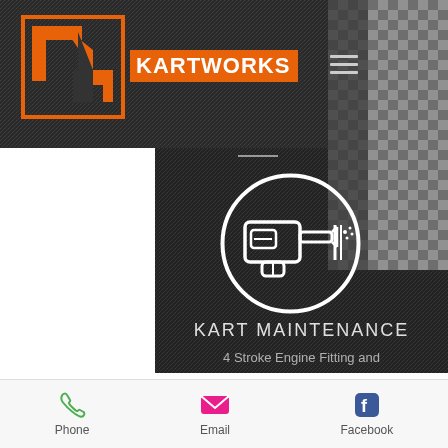[Figure (logo): T4 Kartworks logo with orange angular '4' icon and orange 'KARTWORKS' text block, on dark grey header bar with hamburger menu icon and checkered flag in top right]
[Figure (illustration): Kart maintenance icon: white circle outline containing a white line-art icon of a kart engine / drill-like tool, on dark textured background]
KART MAINTENANCE
4 Stroke Engine Fitting and
[Figure (infographic): Bottom action bar with Phone (green phone icon), Email (pink envelope icon), Facebook (blue Facebook icon)]